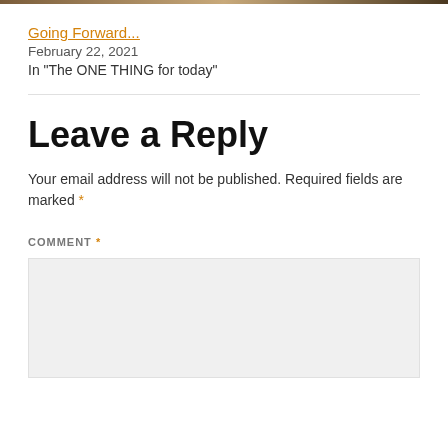[Figure (photo): Thin decorative image bar at top of page, brown/golden tones]
Going Forward...
February 22, 2021
In "The ONE THING for today"
Leave a Reply
Your email address will not be published. Required fields are marked *
COMMENT *